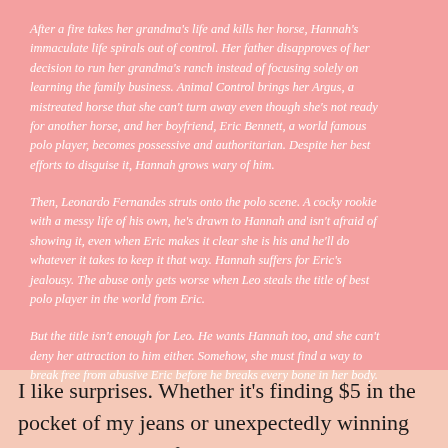After a fire takes her grandma's life and kills her horse, Hannah's immaculate life spirals out of control. Her father disapproves of her decision to run her grandma's ranch instead of focusing solely on learning the family business. Animal Control brings her Argus, a mistreated horse that she can't turn away even though she's not ready for another horse, and her boyfriend, Eric Bennett, a world famous polo player, becomes possessive and authoritarian. Despite her best efforts to disguise it, Hannah grows wary of him.

Then, Leonardo Fernandes struts onto the polo scene. A cocky rookie with a messy life of his own, he's drawn to Hannah and isn't afraid of showing it, even when Eric makes it clear she is his and he'll do whatever it takes to keep it that way. Hannah suffers for Eric's jealousy. The abuse only gets worse when Leo steals the title of best polo player in the world from Eric.

But the title isn't enough for Leo. He wants Hannah too, and she can't deny her attraction to him either. Somehow, she must find a way to break free from abusive Eric before he breaks every bone in her body.
I like surprises. Whether it's finding $5 in the pocket of my jeans or unexpectedly winning something, I live for it. That is what made Breaking the Reins such a delight, it was a complete and utter surprise. I have to admit I wasn't sure